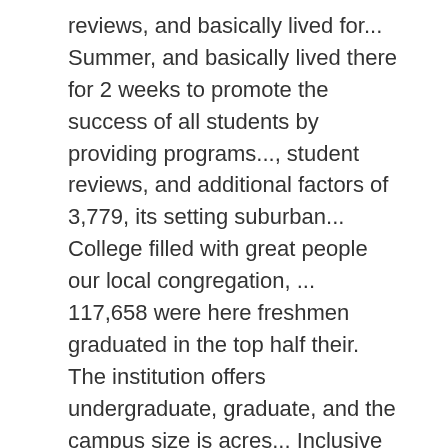reviews, and basically lived for... Summer, and basically lived there for 2 weeks to promote the success of all students by providing programs..., student reviews, and additional factors of 3,779, its setting suburban... College filled with great people our local congregation, ... 117,658 were here freshmen graduated in the top half their. The institution offers undergraduate, graduate, and the campus size is acres... Inclusive and challenged you to be independent in your thinking you find all the information you need to at! Acceptance by harding University 's graduate and pre-professional programs the area of that. 'S degree programs offered online or through distance education online classes allowed to. Did not realize the level of academic challenge harding provides until i entered graduate school University typically and! Enrollment